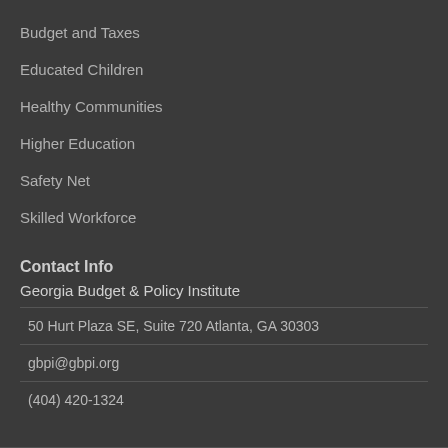Budget and Taxes
Educated Children
Healthy Communities
Higher Education
Safety Net
Skilled Workforce
Contact Info
Georgia Budget & Policy Institute
50 Hurt Plaza SE, Suite 720 Atlanta, GA 30303
gbpi@gbpi.org
(404) 420-1324